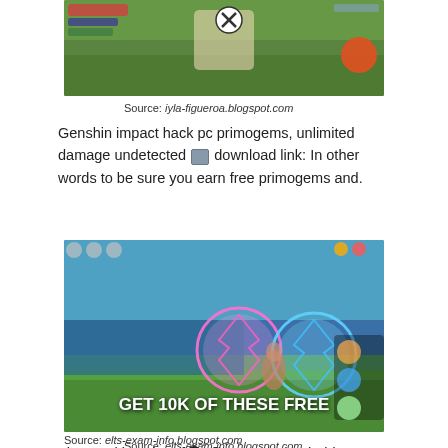[Figure (screenshot): Genshin Impact gameplay screenshot showing a character in a grassy field with game HUD elements]
Source: iyla-figueroa.blogspot.com
Genshin impact hack pc primogems, unlimited damage undetected 💾 download link: In other words to be sure you earn free primogems and.
[Figure (screenshot): Genshin Impact gameplay screenshot showing character with two large glowing orbs (pink and blue) with text GET 10K OF THESE FREE]
Source: elts-exam-info.blogspot.com
That working cheat ✖ all systems (android